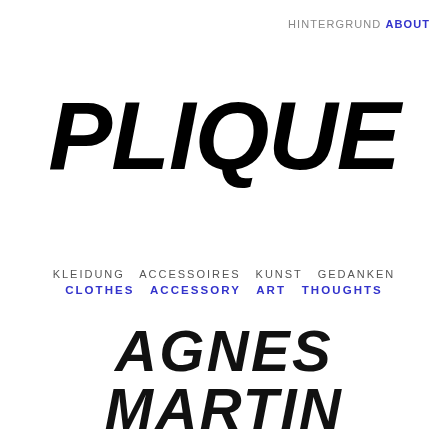HINTERGRUND ABOUT
PLIQUE
KLEIDUNG  ACCESSOIRES  KUNST  GEDANKEN
CLOTHES  ACCESSORY  ART  THOUGHTS
AGNES MARTIN